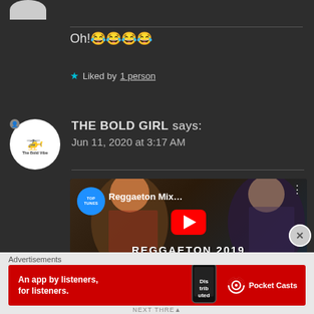Oh!😂😂😂😂
★ Liked by 1 person
THE BOLD GIRL says: Jun 11, 2020 at 3:17 AM
[Figure (screenshot): YouTube video thumbnail for Reggaeton Mix 2019 with TOP TUNES channel logo and YouTube play button. Text overlay: REGGAETON 2019 LAS MEJORES CANCIONES REGGAETON]
Advertisements
[Figure (screenshot): Red advertisement banner: An app by listeners, for listeners. Pocket Casts logo with phone image.]